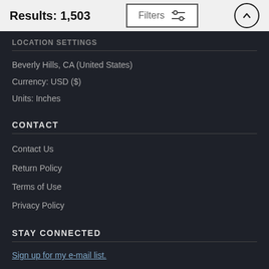Results: 1,503
Filters
LOCATION SETTINGS
Beverly Hills, CA (United States)
Currency: USD ($)
Units: Inches
CONTACT
Contact Us
Return Policy
Terms of Use
Privacy Policy
STAY CONNECTED
Sign up for my e-mail list.
Powered by Fine Art America / Pixels - Original Source